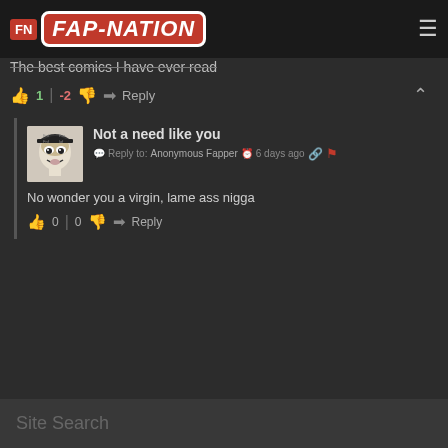FN FAP-NATION
The best comics I have ever read
👍 1 | -2 👎 → Reply
Not a need like you
Reply to: Anonymous Fapper  6 days ago
No wonder you a virgin, lame ass nigga
👍 0 | 0 👎 → Reply
Site Search